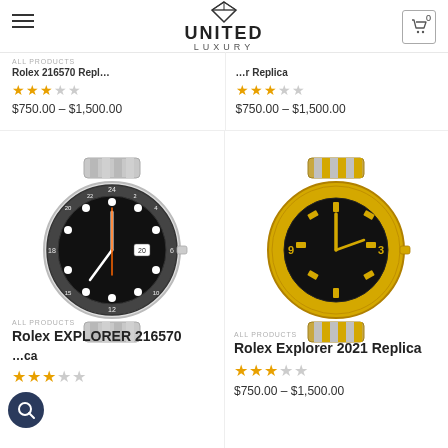UNITED LUXURY
[Figure (photo): Rolex Explorer II 216570 replica watch with stainless steel bracelet and black dial]
[Figure (photo): Rolex Explorer 2021 Replica watch with two-tone gold and steel bracelet and black dial]
ALL PRODUCTS
Rolex EXPLORER 216570 Replica
ALL PRODUCTS
Rolex Explorer 2021 Replica
$750.00 – $1,500.00